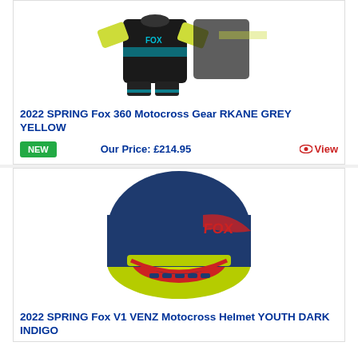[Figure (photo): Fox 360 Motocross Gear RKANE GREY YELLOW - black and yellow/teal jersey and pants set]
2022 SPRING Fox 360 Motocross Gear RKANE GREY YELLOW
NEW | Our Price: £214.95 | View
[Figure (photo): Fox V1 VENZ Motocross Helmet YOUTH DARK INDIGO - navy blue and yellow-green helmet with red lining]
2022 SPRING Fox V1 VENZ Motocross Helmet YOUTH DARK INDIGO